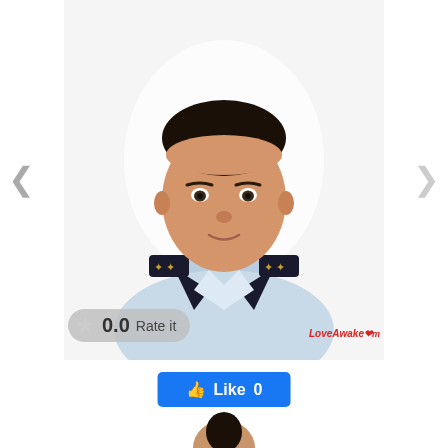[Figure (photo): Profile photo of a young man wearing a white military-style uniform with dark epaulettes and gold insignia, photographed from the chest up against a white/light background.]
0.0 Rate it
LoveAwake.com
Like 0
[Figure (photo): Partial bottom photo showing top of another person's head.]